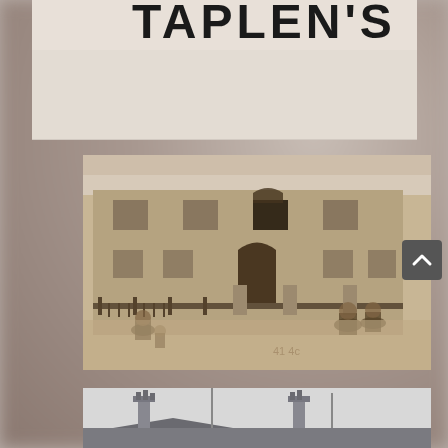[Figure (photo): Partial view of a page from a book or document showing large bold text at the top, partially visible, with blurred background pages behind it]
[Figure (photo): Historical black and white / sepia photograph of a large stone building facade, possibly after a fire, with scorched marks above windows. Several people in period clothing stand in front of iron railings at street level.]
[Figure (photo): Partial view of a building roofline with chimneys and a flagpole, shown against a pale sky, cropped at the bottom of the page]